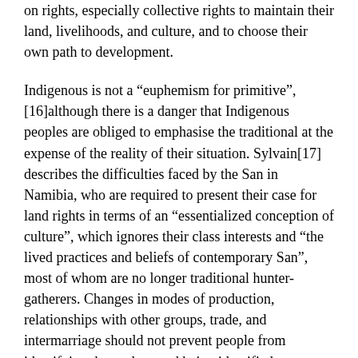on rights, especially collective rights to maintain their land, livelihoods, and culture, and to choose their own path to development.
Indigenous is not a “euphemism for primitive”,[16]although there is a danger that Indigenous peoples are obliged to emphasise the traditional at the expense of the reality of their situation. Sylvain[17] describes the difficulties faced by the San in Namibia, who are required to present their case for land rights in terms of an “essentialized conception of culture”, which ignores their class interests and “the lived practices and beliefs of contemporary San”, most of whom are no longer traditional hunter-gatherers. Changes in modes of production, relationships with other groups, trade, and intermarriage should not prevent people from identifying themselves and being identified as Indigenous.
More than 14·2 million self-identifying Indigenous people live in Africa. Historically, they have played a...